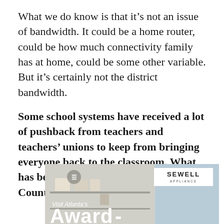What we do know is that it’s not an issue of bandwidth. It could be a home router, could be how much connectivity family has at home, could be some other variable. But it’s certainly not the district bandwidth.
Some school systems have received a lot of pushback from teachers and teachers’ unions to keep from bringing everyone back to the classroom. What has been your experience here in Fulton County?
[Figure (photo): Advertisement image showing a showroom interior with text 'Visit Atlanta’s Award-' and Sewell Appliance logo]